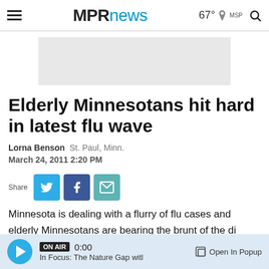MPRnews | 67° MSP
[Figure (other): Gray advertisement placeholder box]
Elderly Minnesotans hit hard in latest flu wave
Lorna Benson   St. Paul, Minn.
March 24, 2011 2:20 PM
[Figure (infographic): Share buttons: Twitter, Facebook, Email]
Minnesota is dealing with a flurry of flu cases and elderly Minnesotans are bearing the brunt of the di...
ON AIR 0:00 In Focus: The Nature Gap witl | Open In Popup